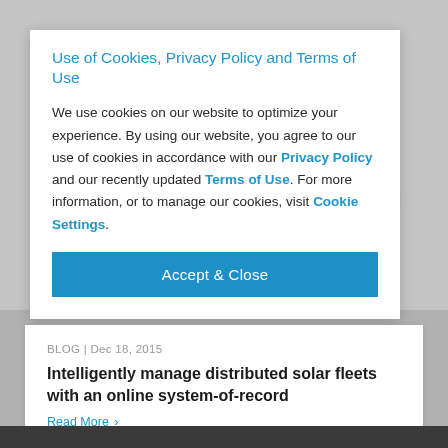Use of Cookies, Privacy Policy and Terms of Use
We use cookies on our website to optimize your experience. By using our website, you agree to our use of cookies in accordance with our Privacy Policy and our recently updated Terms of Use. For more information, or to manage our cookies, visit Cookie Settings.
Accept & Close
BLOG | Dec 18, 2015
Intelligently manage distributed solar fleets with an online system-of-record
Read More >